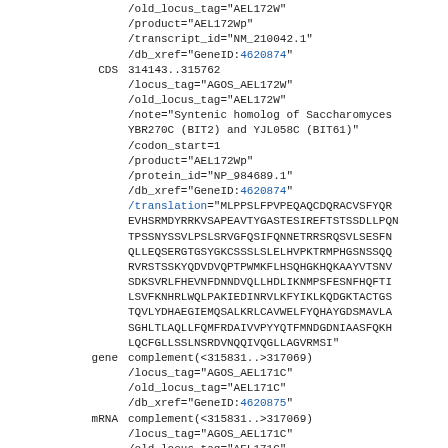/old_locus_tag="AEL172W"
/product="AEL172Wp"
/transcript_id="NM_210042.1"
/db_xref="GeneID:4620874"
CDS  314143..315762
/locus_tag="AGOS_AEL172W"
/old_locus_tag="AEL172W"
/note="Syntenic homolog of Saccharomyces YBR270C (BIT2) and YJL058C (BIT61)"
/codon_start=1
/product="AEL172Wp"
/protein_id="NP_984689.1"
/db_xref="GeneID:4620874"
/translation="MLPPSLFPVPEQAQCDQRACVSFYQR
EVHSRMDYRRKVSAPEAVTYGASTESIREFSTSSDLLPQN
TPSSNYSSVLPSLSRVGFQSIFQNNETRRSRQSVLSESFN
QLLEQSERGTGSYGKCSSSLSLELHVPKTRMPHGSNSSQQ
RVRSTSSKYQDVDVQPTPWMKFLHSQHGKHQKAAYVTSNV
SDKSVRLFHEVNFDNNDVQLLHDLIKNMPSFESNFHQFTI
LSVFKNHRLWQLPAKIEDINRVLKFYIKLKQDGKTACTGS
TQVLYDHAEGIEMQSALKRLCAVWELFYQHAYGDSMAVLA
SGHLTLAQLLFQMFRDAIVVPYYQTFMNDGDNIAAsFQKH
LQCFGLLSSLNSRDVNQQIVQGLLAGVRMSI"
gene  complement(<315831..>317069)
/locus_tag="AGOS_AEL171C"
/old_locus_tag="AEL171C"
/db_xref="GeneID:4620875"
mRNA  complement(<315831..>317069)
/locus_tag="AGOS_AEL171C"
/old_locus_tag="AEL171C"
/product="AEL171Cp"
/transcript_id="NM_210043.1"
/db_xref="GeneID:4620875"